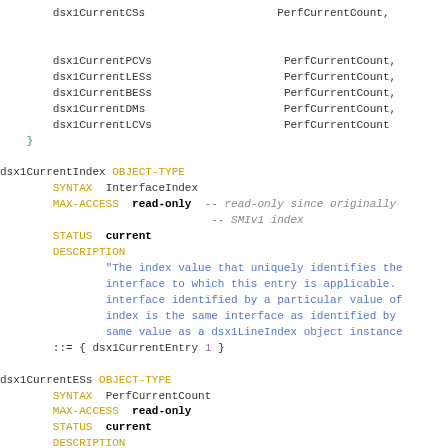MIB code block showing dsx1Current OBJECT-TYPE definitions including dsx1CurrentCSs, dsx1CurrentPCVs, dsx1CurrentLESs, dsx1CurrentBESs, dsx1CurrentDMs, dsx1CurrentLCVs, dsx1CurrentIndex OBJECT-TYPE with SYNTAX InterfaceIndex, MAX-ACCESS read-only, STATUS current, DESCRIPTION, dsx1CurrentESs OBJECT-TYPE with SYNTAX PerfCurrentCount, MAX-ACCESS read-only, STATUS current, DESCRIPTION The number of Errored Seconds.